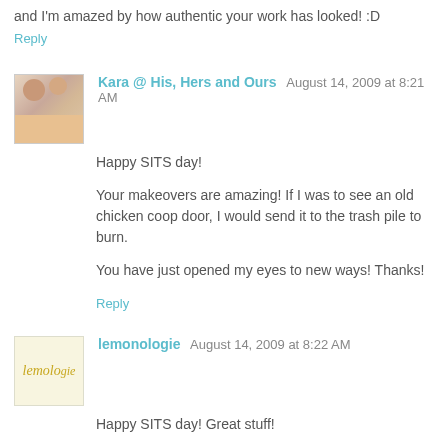and I'm amazed by how authentic your work has looked! :D
Reply
Kara @ His, Hers and Ours  August 14, 2009 at 8:21 AM
Happy SITS day!
Your makeovers are amazing! If I was to see an old chicken coop door, I would send it to the trash pile to burn.
You have just opened my eyes to new ways! Thanks!
Reply
lemonologie  August 14, 2009 at 8:22 AM
Happy SITS day! Great stuff!
Reply
Anonymous  August 14, 2009 at 8:27 AM
Happy SITS day! Great stuff!